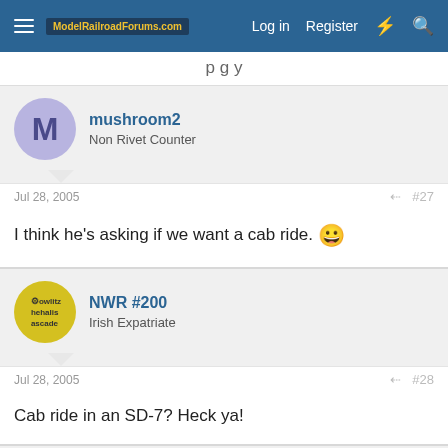ModelRailroadForums.com | Log in | Register
mushroom2 | Non Rivet Counter | Jul 28, 2005 | #27 | I think he's asking if we want a cab ride.
NWR #200 | Irish Expatriate | Jul 28, 2005 | #28 | Cab ride in an SD-7? Heck ya!
BrandywineBob | Superintendent & Porter